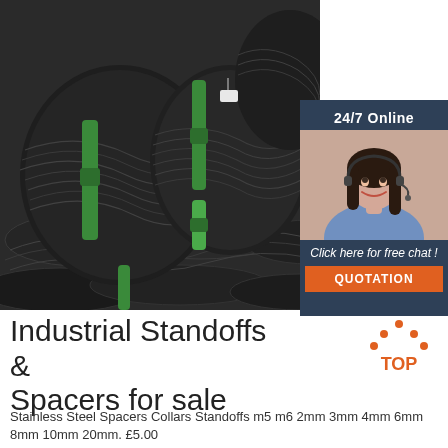[Figure (photo): Bundles of black steel wire coils tied with green straps, stacked in a warehouse]
[Figure (photo): Dark blue sidebar panel with '24/7 Online' heading, customer service woman with headset, 'Click here for free chat!' text and orange QUOTATION button]
Industrial Standoffs & Spacers for sale
[Figure (logo): Orange triangle/arch logo with 'TOP' text]
Stainless Steel Spacers Collars Standoffs m5 m6 2mm 3mm 4mm 6mm 8mm 10mm 20mm. £5.00